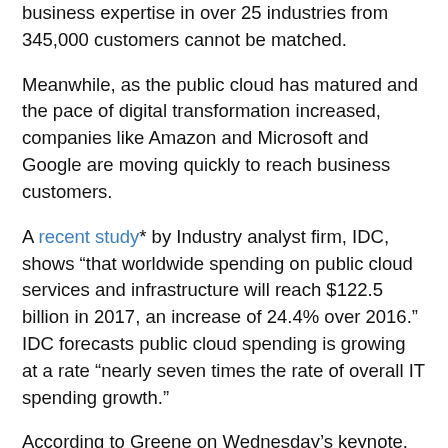business expertise in over 25 industries from 345,000 customers cannot be matched.
Meanwhile, as the public cloud has matured and the pace of digital transformation increased, companies like Amazon and Microsoft and Google are moving quickly to reach business customers.
A recent study* by Industry analyst firm, IDC, shows “that worldwide spending on public cloud services and infrastructure will reach $122.5 billion in 2017, an increase of 24.4% over 2016.”  IDC forecasts public cloud spending is growing at a rate “nearly seven times the rate of overall IT spending growth.”
According to Greene on Wednesday’s keynote, cloud is no longer about storage. It’s revolutionizing industries from energy to healthcare. And while Google’s public cloud offerings rank behind Amazon Web Services and Microsoft Azure, according to analysts, Green offered this perspective: “If you stacked up our servers one on top of another, it would create a stack 5,000 feet higher than Mount Everest.” Put another way, “88 billion Pokemon have been caught on the